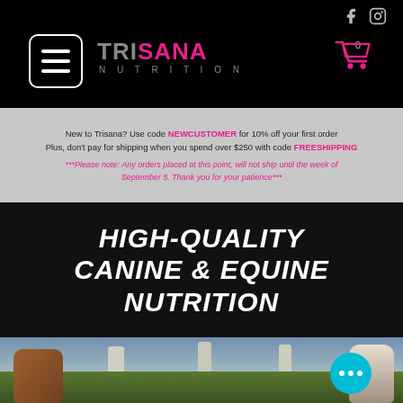Trisana Nutrition website header with hamburger menu, logo, cart icon, and social media icons (Facebook, Instagram)
New to Trisana? Use code NEWCUSTOMER for 10% off your first order Plus, don't pay for shipping when you spend over $250 with code FREESHIPPING.
***Please note: Any orders placed at this point, will not ship until the week of September 5. Thank you for your patience***
HIGH-QUALITY CANINE & EQUINE NUTRITION
[Figure (photo): Outdoor photo of dogs on grass with trees in background]